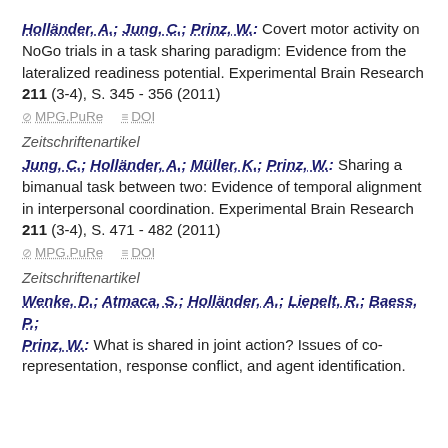Holländer, A.; Jung, C.; Prinz, W.: Covert motor activity on NoGo trials in a task sharing paradigm: Evidence from the lateralized readiness potential. Experimental Brain Research 211 (3-4), S. 345 - 356 (2011)
MPG.PuRe   DOI
Zeitschriftenartikel
Jung, C.; Holländer, A.; Müller, K.; Prinz, W.: Sharing a bimanual task between two: Evidence of temporal alignment in interpersonal coordination. Experimental Brain Research 211 (3-4), S. 471 - 482 (2011)
MPG.PuRe   DOI
Zeitschriftenartikel
Wenke, D.; Atmaca, S.; Holländer, A.; Liepelt, R.; Baess, P.; Prinz, W.: What is shared in joint action? Issues of co-representation, response conflict, and agent identification.